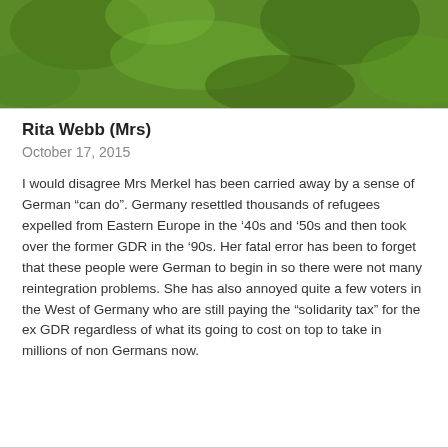John Redwood's Diary
Rita Webb (Mrs)
October 17, 2015
I would disagree Mrs Merkel has been carried away by a sense of German “can do”. Germany resettled thousands of refugees expelled from Eastern Europe in the ‘40s and ‘50s and then took over the former GDR in the ’90s. Her fatal error has been to forget that these people were German to begin in so there were not many reintegration problems. She has also annoyed quite a few voters in the West of Germany who are still paying the “solidarity tax” for the ex GDR regardless of what its going to cost on top to take in millions of non Germans now.